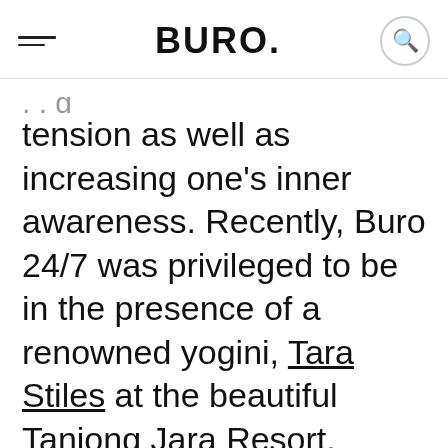BURO.
tension as well as increasing one's inner awareness. Recently, Buro 24/7 was privileged to be in the presence of a renowned yogini, Tara Stiles at the beautiful Tanjong Jara Resort.
Located at Dungun, Terengganu, Tanjong Jara Resort provides a sanctuary of luxury and well-being. Being surrounded by the soft swaying coconut trees and cool